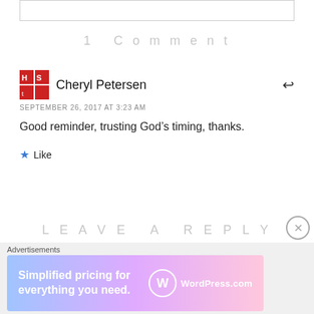1 Comment
Cheryl Petersen
SEPTEMBER 26, 2017 AT 3:23 AM
Good reminder, trusting God’s timing, thanks.
★ Like
LEAVE A REPLY
[Figure (other): WordPress.com advertisement banner: Simplified pricing for everything you need.]